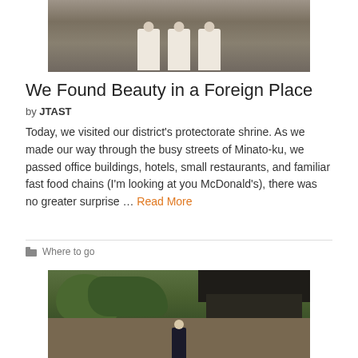[Figure (photo): Three people in white shirts standing together at what appears to be a Japanese shrine or temple entrance]
We Found Beauty in a Foreign Place
by JTAST
Today, we visited our district's protectorate shrine. As we made our way through the busy streets of Minato-ku, we passed office buildings, hotels, small restaurants, and familiar fast food chains (I'm looking at you McDonald's), there was no greater surprise … Read More
Where to go
[Figure (photo): A person standing in front of a traditional Japanese building with dark wooden architecture and large trees]